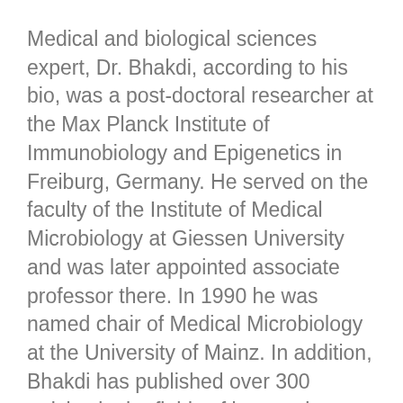Medical and biological sciences expert, Dr. Bhakdi, according to his bio, was a post-doctoral researcher at the Max Planck Institute of Immunobiology and Epigenetics in Freiburg, Germany. He served on the faculty of the Institute of Medical Microbiology at Giessen University and was later appointed associate professor there. In 1990 he was named chair of Medical Microbiology at the University of Mainz. In addition, Bhakdi has published over 300 articles in the fields of immunology, bacteriology, virology, and parasitology, for which he has received numerous awards and the Order of Merit of Rhineland-Palatinate...